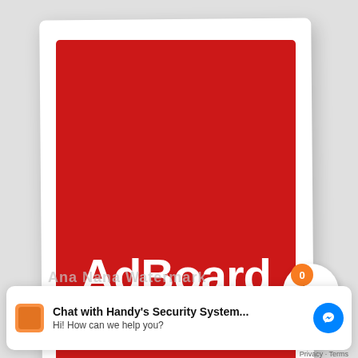[Figure (logo): AdBoard app logo: large red square card with white bold text 'AdBoard' centered on it, shown as a photo/screenshot with a shopping cart icon button (badge showing 0) in the lower right corner.]
Chat with Handy's Security System...
Hi! How can we help you?
Privacy · Terms